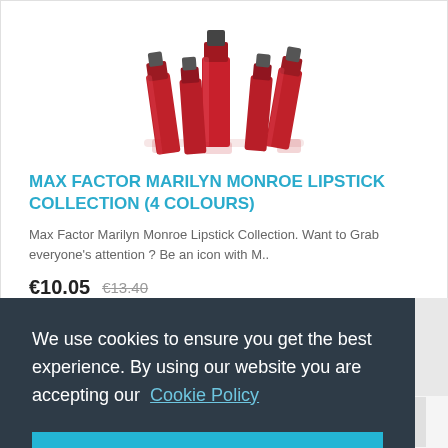[Figure (photo): Red nail polish bottles arranged in a group, product photo on white background]
MAX FACTOR MARILYN MONROE LIPSTICK COLLECTION (4 COLOURS)
Max Factor Marilyn Monroe Lipstick Collection. Want to Grab everyone's attention ? Be an icon with M..
€10.05  €13.40
We use cookies to ensure you get the best experience. By using our website you are accepting our  Cookie Policy
Accept Cookies